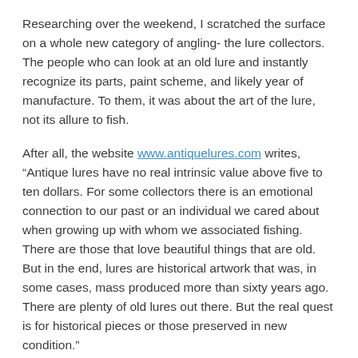Researching over the weekend, I scratched the surface on a whole new category of angling- the lure collectors. The people who can look at an old lure and instantly recognize its parts, paint scheme, and likely year of manufacture. To them, it was about the art of the lure, not its allure to fish.
After all, the website www.antiquelures.com writes, “Antique lures have no real intrinsic value above five to ten dollars. For some collectors there is an emotional connection to our past or an individual we cared about when growing up with whom we associated fishing. There are those that love beautiful things that are old. But in the end, lures are historical artwork that was, in some cases, mass produced more than sixty years ago. There are plenty of old lures out there. But the real quest is for historical pieces or those preserved in new condition.”
Those were the people participating in this auction -and while